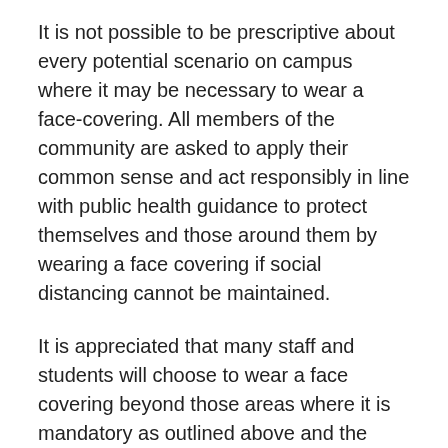It is not possible to be prescriptive about every potential scenario on campus where it may be necessary to wear a face-covering. All members of the community are asked to apply their common sense and act responsibly in line with public health guidance to protect themselves and those around them by wearing a face covering if social distancing cannot be maintained.
It is appreciated that many staff and students will choose to wear a face covering beyond those areas where it is mandatory as outlined above and the University fully supports this position. You should also bear in mind that for personal and health reasons that are not visible, some members of our community will not be able to wear a face covering. All staff and students are expected to respect each